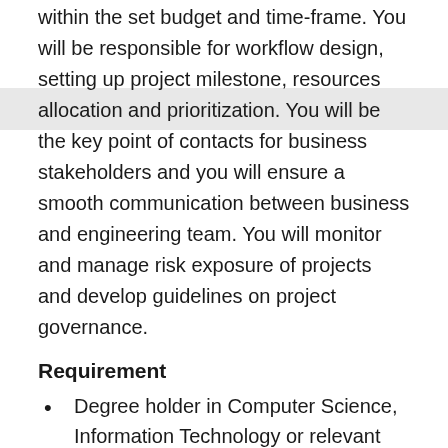within the set budget and time-frame. You will be responsible for workflow design, setting up project milestone, resources allocation and prioritization. You will be the key point of contacts for business stakeholders and you will ensure a smooth communication between business and engineering team. You will monitor and manage risk exposure of projects and develop guidelines on project governance.
Requirement
Degree holder in Computer Science, Information Technology or relevant discipline.
3-6 years hands on work experience in project management/ product development/ business analysis gained from Financial Services/ Insurance/ FinTech is required.
Knowledge in AGILE and project management tools would be a definite advantage.
Passionate in learning new technologies including